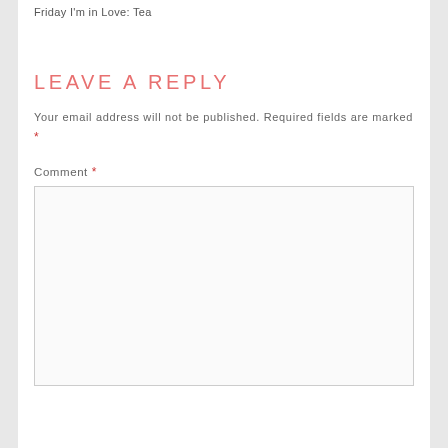Friday I'm in Love: Tea
LEAVE A REPLY
Your email address will not be published. Required fields are marked *
Comment *